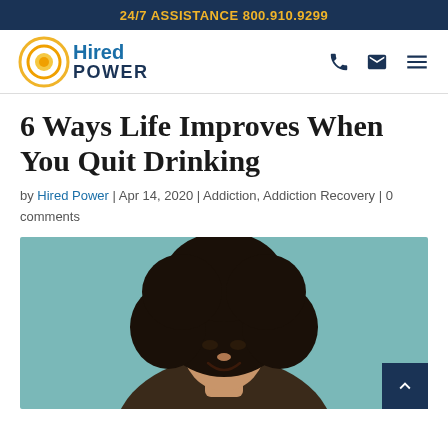24/7 ASSISTANCE 800.910.9299
[Figure (logo): Hired Power logo with circular sun icon and company name]
6 Ways Life Improves When You Quit Drinking
by Hired Power | Apr 14, 2020 | Addiction, Addiction Recovery | 0 comments
[Figure (photo): Woman with afro hairstyle smiling, teal background]